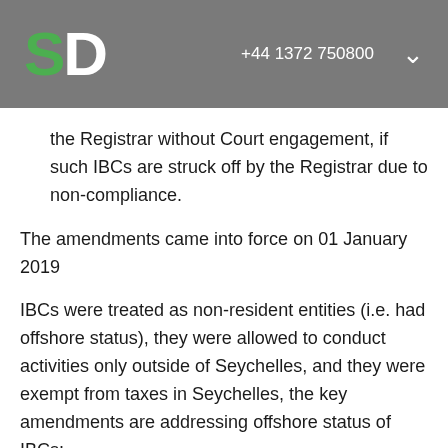SD  +44 1372 750800
the Registrar without Court engagement, if such IBCs are struck off by the Registrar due to non-compliance.
The amendments came into force on 01 January 2019
IBCs were treated as non-resident entities (i.e. had offshore status), they were allowed to conduct activities only outside of Seychelles, and they were exempt from taxes in Seychelles, the key amendments are addressing offshore status of IBCs:
Restrictions related to carrying on business in Seychelles and owning/leasing of immovable property